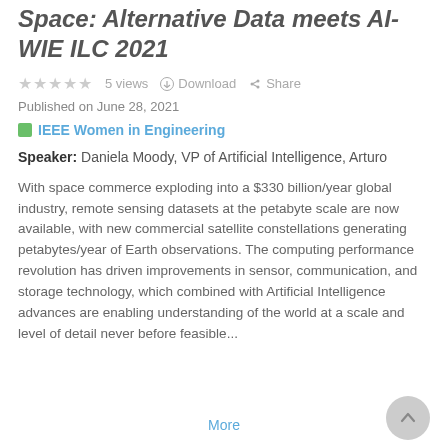Space: Alternative Data meets AI- WIE ILC 2021
★★★★★  5 views  ⊙ Download  ➤ Share
Published on June 28, 2021
IEEE Women in Engineering
Speaker: Daniela Moody, VP of Artificial Intelligence, Arturo
With space commerce exploding into a $330 billion/year global industry, remote sensing datasets at the petabyte scale are now available, with new commercial satellite constellations generating petabytes/year of Earth observations. The computing performance revolution has driven improvements in sensor, communication, and storage technology, which combined with Artificial Intelligence advances are enabling understanding of the world at a scale and level of detail never before feasible...
More